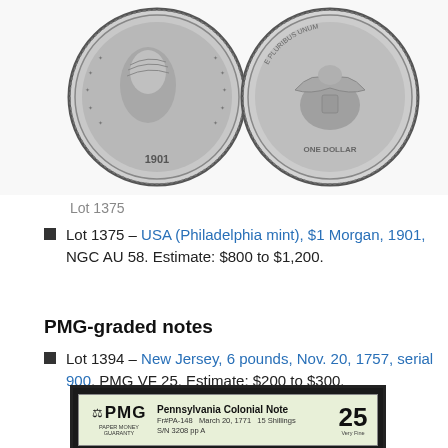[Figure (photo): Two Morgan silver dollar coins side by side — obverse (left) showing Lady Liberty profile dated 1901, and reverse (right) showing an eagle]
Lot 1375
Lot 1375 – USA (Philadelphia mint), $1 Morgan, 1901, NGC AU 58. Estimate: $800 to $1,200.
PMG-graded notes
Lot 1394 – New Jersey, 6 pounds, Nov. 20, 1757, serial 900, PMG VF 25. Estimate: $200 to $300.
[Figure (photo): PMG graded holder showing Pennsylvania Colonial Note, Fr#PA-148, March 20, 1771, 15 Shillings, S/N 3208 pp A, graded VF 25]